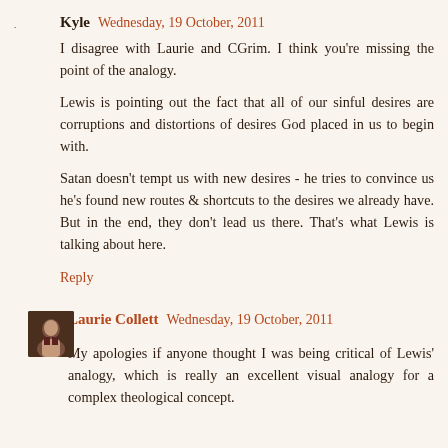Kyle  Wednesday, 19 October, 2011
I disagree with Laurie and CGrim. I think you're missing the point of the analogy.

Lewis is pointing out the fact that all of our sinful desires are corruptions and distortions of desires God placed in us to begin with.

Satan doesn't tempt us with new desires - he tries to convince us he's found new routes & shortcuts to the desires we already have. But in the end, they don't lead us there. That's what Lewis is talking about here.

Reply
Laurie Collett  Wednesday, 19 October, 2011
My apologies if anyone thought I was being critical of Lewis' analogy, which is really an excellent visual analogy for a complex theological concept.